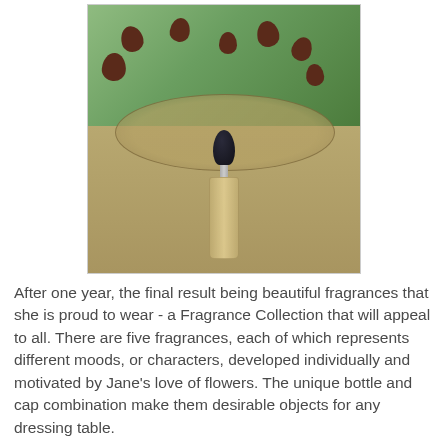[Figure (photo): A perfume bottle with a dark bulbous cap stands upright in an oval decorative tray filled with golden seeds/grain, surrounded by dark purple-brown figs, on a pale golden surface with green foliage in the background.]
After one year, the final result being beautiful fragrances that she is proud to wear - a Fragrance Collection that will appeal to all. There are five fragrances, each of which represents different moods, or characters, developed individually and motivated by Jane's love of flowers. The unique bottle and cap combination make them desirable objects for any dressing table.
[Figure (photo): Partial bottom image of flowers or plants, partially cropped.]